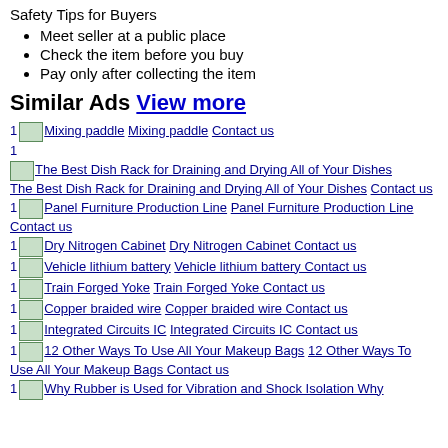Safety Tips for Buyers
Meet seller at a public place
Check the item before you buy
Pay only after collecting the item
Similar Ads View more
1 Mixing paddle Mixing paddle Contact us
1
The Best Dish Rack for Draining and Drying All of Your Dishes The Best Dish Rack for Draining and Drying All of Your Dishes Contact us
1 Panel Furniture Production Line Panel Furniture Production Line Contact us
1 Dry Nitrogen Cabinet Dry Nitrogen Cabinet Contact us
1 Vehicle lithium battery Vehicle lithium battery Contact us
1 Train Forged Yoke Train Forged Yoke Contact us
1 Copper braided wire Copper braided wire Contact us
1 Integrated Circuits IC Integrated Circuits IC Contact us
1 12 Other Ways To Use All Your Makeup Bags 12 Other Ways To Use All Your Makeup Bags Contact us
1 Why Rubber is Used for Vibration and Shock Isolation Why